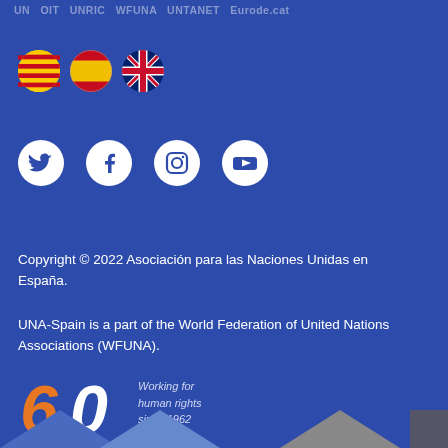UN  OIT  UNRIC  WFUNA  UNTANET  Eurodecat
[Figure (illustration): Three circular flag icons: Catalan flag (red and yellow stripes), Spanish flag (red and yellow horizontal bands), and UK flag (Union Jack)]
[Figure (illustration): Social media icons in white on dark blue background: Twitter bird, Facebook f, Instagram camera, YouTube play button]
Copyright © 2022 Asociación para las Naciones Unidas en España.
UNA-Spain is a part of the World Federation of United Nations Associations (WFUNA).
[Figure (logo): 60th anniversary logo with orange italic '6' and white '0', beside italic text 'Working for human rights since 1962' in light blue-grey]